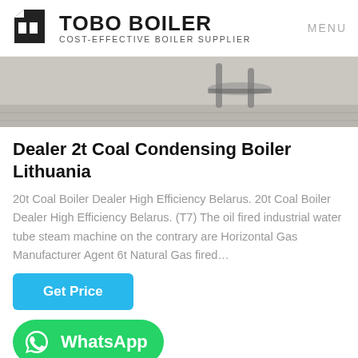TOBO BOILER | COST-EFFECTIVE BOILER SUPPLIER | MENU
[Figure (photo): Partial photo of a boiler/industrial equipment on a tiled floor, cropped at top]
Dealer 2t Coal Condensing Boiler Lithuania
20t Coal Boiler Dealer High Efficiency Belarus. 20t Coal Boiler Dealer High Efficiency Belarus. (T7) The oil fired industrial water tube steam machine on the contrary are Horizontal Gas Manufacturer Agent 6t Natural Gas fired…
Get Price
[Figure (logo): WhatsApp button: green rounded rectangle with WhatsApp icon and text 'WhatsApp']
Hot News